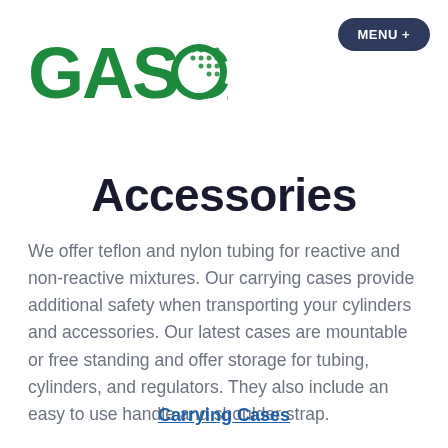[Figure (logo): GASCO logo with green text and dotted circle graphic]
MENU +
Accessories
We offer teflon and nylon tubing for reactive and non-reactive mixtures. Our carrying cases provide additional safety when transporting your cylinders and accessories. Our latest cases are mountable or free standing and offer storage for tubing, cylinders, and regulators. They also include an easy to use handle and shoulder strap.
Carrying Cases